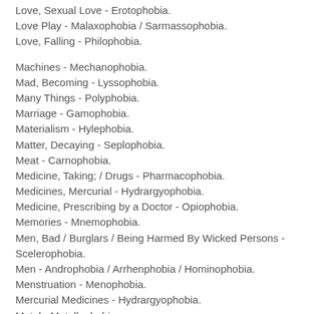Love, Sexual Love - Erotophobia.
Love Play - Malaxophobia / Sarmassophobia.
Love, Falling - Philophobia.
Machines - Mechanophobia.
Mad, Becoming - Lyssophobia.
Many Things - Polyphobia.
Marriage - Gamophobia.
Materialism - Hylephobia.
Matter, Decaying - Seplophobia.
Meat - Carnophobia.
Medicine, Taking; / Drugs - Pharmacophobia.
Medicines, Mercurial - Hydrargyophobia.
Medicine, Prescribing by a Doctor - Opiophobia.
Memories - Mnemophobia.
Men, Bad / Burglars / Being Harmed By Wicked Persons - Scelerophobia.
Men - Androphobia / Arrhenphobia / Hominophobia.
Menstruation - Menophobia.
Mercurial Medicines - Hydrargyophobia.
Metal - Metallophobia.
Meteors - Meteorophobia.